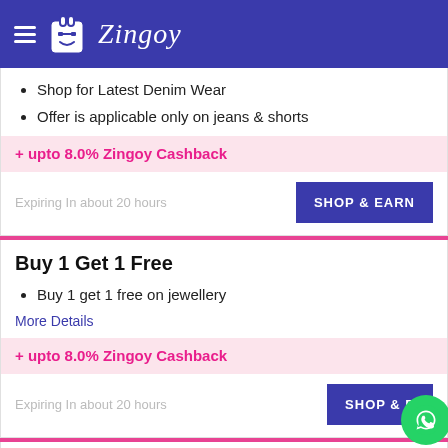Zingoy
Shop for Latest Denim Wear
Offer is applicable only on jeans & shorts
+ upto 8.0% Zingoy Cashback
Expiring In about 20 hours
Buy 1 Get 1 Free
Buy 1 get 1 free on jewellery
More Details
+ upto 8.0% Zingoy Cashback
Expiring In about 20 hours
Clearance Sale : Get Up To 80% OFF